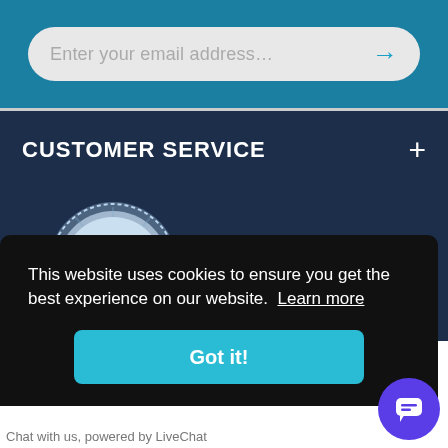[Figure (screenshot): Email input field with placeholder text 'Enter your email address...' and a blue arrow button on the right, on a teal/blue background]
CUSTOMER SERVICE
[Figure (infographic): Certified reviews badge showing 18.1K reviews with 5 gold stars and text 'CERTIFIED REVIEWS']
This website uses cookies to ensure you get the best experience on our website. Learn more
[Figure (other): Got it! button (teal/cyan color)]
Chat with us, powered by LiveChat